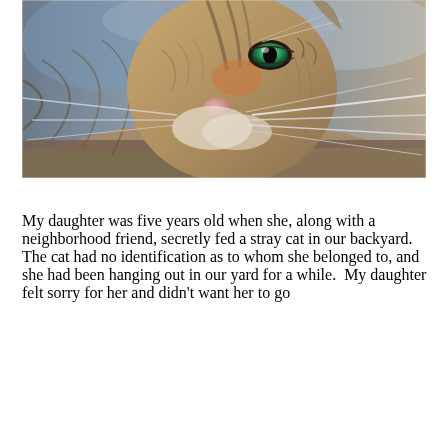[Figure (photo): Close-up photograph of a tabby cat's face, showing detailed fur texture in brown and grey tones, prominent white whiskers, a pink nose, and one visible green eye. The background is blurred blue-grey.]
My daughter was five years old when she, along with a neighborhood friend, secretly fed a stray cat in our backyard.  The cat had no identification as to whom she belonged to, and she had been hanging out in our yard for a while.  My daughter felt sorry for her and didn't want her to go